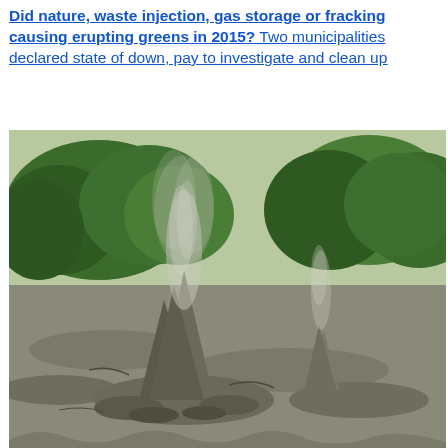Did nature, waste injection, gas storage or fracking causing erupting greens in 2015? Two municipalities declared state of down, pay to investigate and clean up
[Figure (photo): Photograph of a mud geyser or erupting mud/gas vent in an open area with gray mud spray shooting upward, surrounded by flat muddy ground. Green trees and bushes visible in the background.]